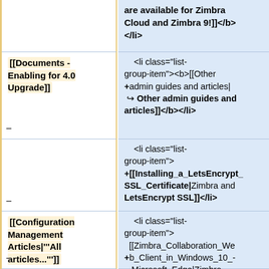are available for Zimbra Cloud and Zimbra 9!]]</b></li>
[[Documents - Enabling for 4.0 Upgrade]]
<li class="list-group-item"><b>[[Other admin guides and articles| ↪ Other admin guides and articles]]</b></li>
<li class="list-group-item"> +[[Installing_a_LetsEncrypt_SSL_Certificate|Zimbra and LetsEncrypt SSL]]</li>
[[Configuration Management Articles|'''All articles...''']]
<li class="list-group-item"> [[Zimbra_Collaboration_Web_Client_in_Windows_10_-_Microsoft_Edge|Zimbra Collaboration in Windows